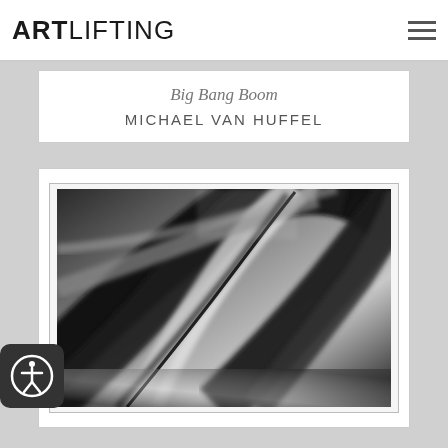ARTLIFTING
Big Bang Boom
MICHAEL VAN HUFFEL
[Figure (photo): Black and white abstract photograph titled 'Big Bang Boom' by Michael Van Huffel, showing sweeping dark and light diagonal lines and curves with a blurred, flowing motion effect.]